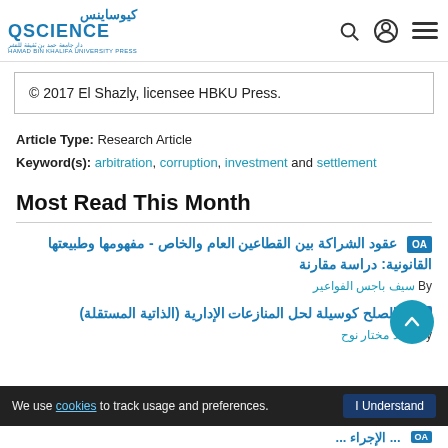QSCIENCE - كيوساينس
© 2017 El Shazly, licensee HBKU Press.
Article Type: Research Article
Keyword(s): arbitration, corruption, investment and settlement
Most Read This Month
OA عقود الشراكة بين القطاعين العام والخاص - مفهومها وطبيعتها القانونية: دراسة مقارنة — By سيف باجس الفواعير
OA الصلح كوسيلة لحل المنازعات الإدارية (الذاتية المستقلة) — By مهند مختار نوح
We use cookies to track usage and preferences. I Understand